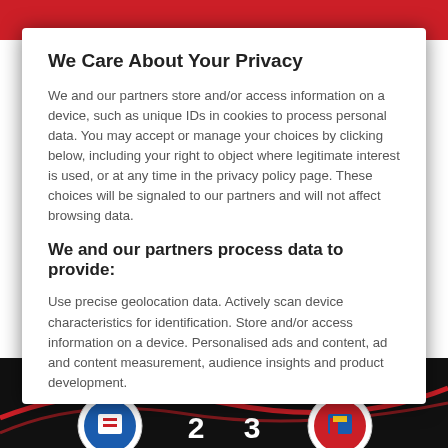We Care About Your Privacy
We and our partners store and/or access information on a device, such as unique IDs in cookies to process personal data. You may accept or manage your choices by clicking below, including your right to object where legitimate interest is used, or at any time in the privacy policy page. These choices will be signaled to our partners and will not affect browsing data.
We and our partners process data to provide:
Use precise geolocation data. Actively scan device characteristics for identification. Store and/or access information on a device. Personalised ads and content, ad and content measurement, audience insights and product development.
List of Partners (vendors)
Show Purposes
I Accept
[Figure (screenshot): Football match score screen showing Real Sociedad vs Barcelona, score 2-3, with player in the background]